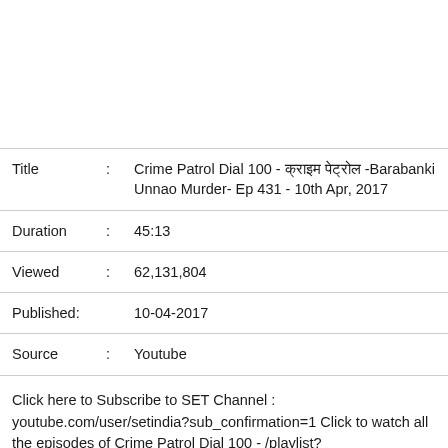| Field | Colon | Value |
| --- | --- | --- |
| Title | : | Crime Patrol Dial 100 - क्राइम पेट्रोल -Barabanki Unnao Murder- Ep 431 - 10th Apr, 2017 |
| Duration | : | 45:13 |
| Viewed | : | 62,131,804 |
| Published: |  | 10-04-2017 |
| Source | : | Youtube |
Click here to Subscribe to SET Channel : youtube.com/user/setindia?sub_confirmation=1 Click to watch all the episodes of Crime Patrol Dial 100 - /playlist?list=PLzufeTFnhupzBi22rTZgQbnRMWVCrUEvP In today's